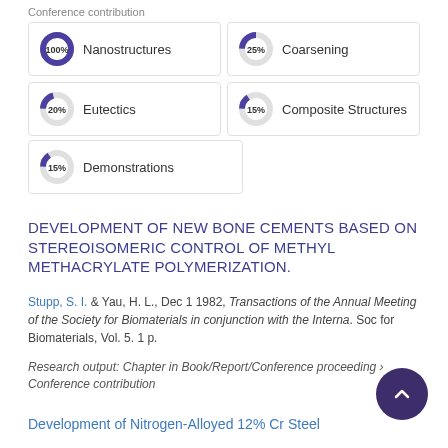Conference contribution
[Figure (infographic): Five keyword badge boxes with donut/pie percentage indicators: Nanostructures 100%, Coarsening ~25%, Eutectics ~20%, Composite Structures ~15%, Demonstrations ~15%]
DEVELOPMENT OF NEW BONE CEMENTS BASED ON STEREOISOMERIC CONTROL OF METHYL METHACRYLATE POLYMERIZATION.
Stupp, S. I. & Yau, H. L., Dec 1 1982, Transactions of the Annual Meeting of the Society for Biomaterials in conjunction with the Interna. Soc for Biomaterials, Vol. 5. 1 p.
Research output: Chapter in Book/Report/Conference proceeding › Conference contribution
Development of Nitrogen-Alloyed 12% Cr Steel
Dunand, D. C., Ernst, P., Uggowitzer, P. S., Ernst, D. & M. O., 1986, Proceedings of the 2nd P900 Conference.
Research output: Chapter in Book/Report/Conference proceeding ›